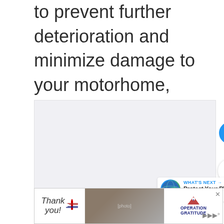to prevent further deterioration and minimize damage to your motorhome, camper or vehicles from salt air and sun UV rays.
[Figure (screenshot): A large image placeholder area (light gray background) representing an embedded image or video in the article. Overlaid with social interaction UI: a blue circular heart/like button, a like count of 4, and a circular share button. A 'WHAT'S NEXT' card in the bottom-right corner shows a globe icon and text 'Protect Your RV from...']
[Figure (photo): Advertisement banner at the bottom: 'Thank you!' text with a pencil graphic and US flag star, a photo of military personnel, and 'OPERATION GRATITUDE' logo with patriotic styling. An X close button is visible in the top-right of the ad.]